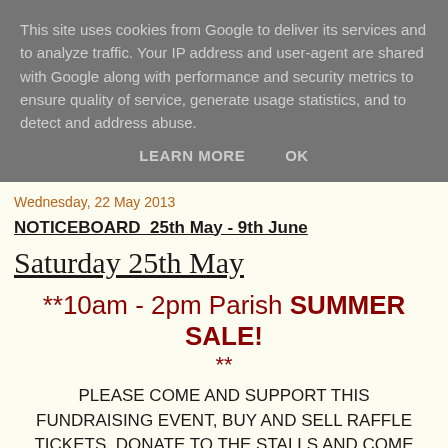This site uses cookies from Google to deliver its services and to analyze traffic. Your IP address and user-agent are shared with Google along with performance and security metrics to ensure quality of service, generate usage statistics, and to detect and address abuse.
LEARN MORE    OK
Wednesday, 22 May 2013
NOTICEBOARD  25th May - 9th June
Saturday 25th May
**10am - 2pm Parish SUMMER SALE! **
PLEASE COME AND SUPPORT THIS FUNDRAISING EVENT, BUY AND SELL RAFFLE TICKETS, DONATE TO THE STALLS AND COME